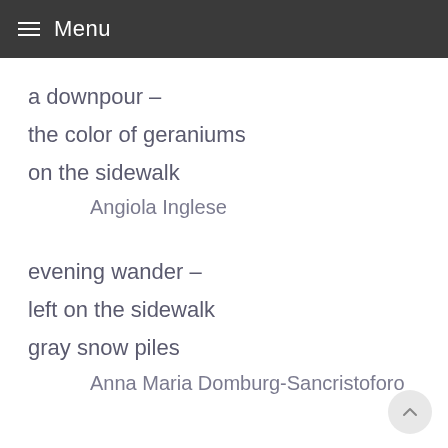≡ Menu
a downpour –
the color of geraniums
on the sidewalk
Angiola Inglese
evening wander –
left on the sidewalk
gray snow piles
Anna Maria Domburg-Sancristoforo